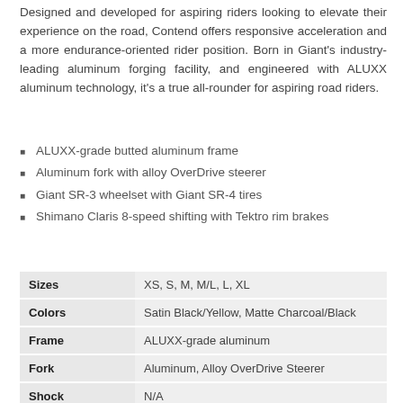Designed and developed for aspiring riders looking to elevate their experience on the road, Contend offers responsive acceleration and a more endurance-oriented rider position. Born in Giant's industry-leading aluminum forging facility, and engineered with ALUXX aluminum technology, it's a true all-rounder for aspiring road riders.
ALUXX-grade butted aluminum frame
Aluminum fork with alloy OverDrive steerer
Giant SR-3 wheelset with Giant SR-4 tires
Shimano Claris 8-speed shifting with Tektro rim brakes
|  |  |
| --- | --- |
| Sizes | XS, S, M, M/L, L, XL |
| Colors | Satin Black/Yellow, Matte Charcoal/Black |
| Frame | ALUXX-grade aluminum |
| Fork | Aluminum, Alloy OverDrive Steerer |
| Shock | N/A |
| Handlebar | Giant Connect , 31.8mm |